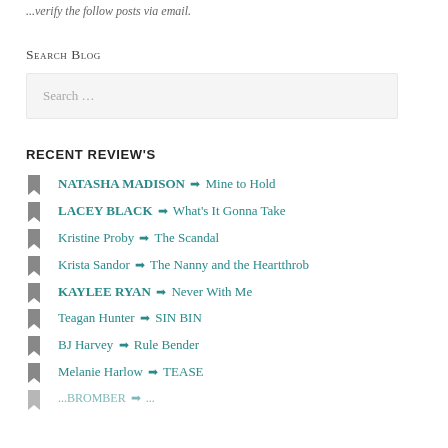...verify the follow posts via email.
Search Blog
Search ...
RECENT REVIEW'S
NATASHA MADISON ➤ Mine to Hold
LACEY BLACK ➤ What's It Gonna Take
Kristine Proby ➤ The Scandal
Krista Sandor ➤ The Nanny and the Heartthrob
KAYLEE RYAN ➤ Never With Me
Teagan Hunter ➤ SIN BIN
BJ Harvey ➤ Rule Bender
Melanie Harlow ➤ TEASE
...BROMBER ➤ ...